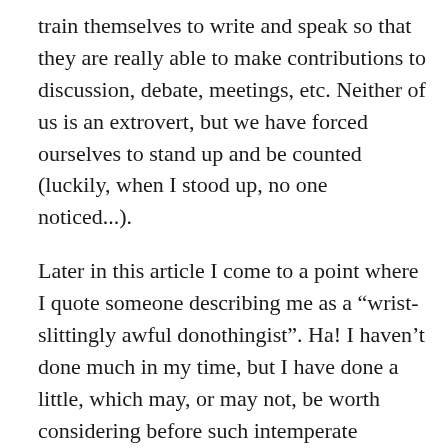train themselves to write and speak so that they are really able to make contributions to discussion, debate, meetings, etc. Neither of us is an extrovert, but we have forced ourselves to stand up and be counted (luckily, when I stood up, no one noticed...).
Later in this article I come to a point where I quote someone describing me as a “wrist-slittingly awful donothingist”. Ha! I haven’t done much in my time, but I have done a little, which may, or may not, be worth considering before such intemperate assertions are made. I include this list not to show some of the things I have done, but to show how it is possible for those who describe themselves as libertarian, or anarchist, or communist (I mean those people who often say they want everyone to think for themselves), to mislead others with their forthright and unsubstantiated views